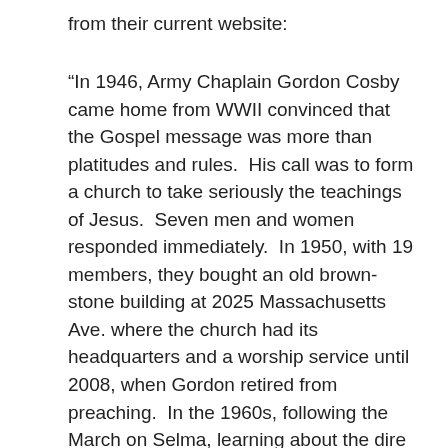from their current website:
“In 1946, Army Chaplain Gordon Cosby came home from WWII convinced that the Gospel message was more than platitudes and rules.  His call was to form a church to take seriously the teachings of Jesus.  Seven men and women responded immediately.  In 1950, with 19 members, they bought an old brown-stone building at 2025 Massachusetts Ave. where the church had its headquarters and a worship service until 2008, when Gordon retired from preaching.  In the 1960s, following the March on Selma, learning about the dire situation for children at Junior Village in DC., and a growing awareness of the poverty around the newly established Potter’s House in the Adams Morgan neighborhood (in DC), members of the church felt a strong call to be in community with the poor and disenfranchised people of DC.  Many of the ministries were formed in the 1970s and